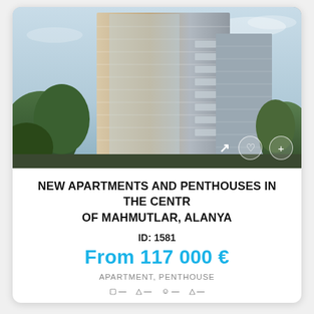[Figure (photo): Exterior rendering of a modern high-rise residential building with glass facades and balconies, surrounded by palm trees and greenery, blue sky background. Action icons (expand, favorite, add) overlay the bottom right corner.]
NEW APARTMENTS AND PENTHOUSES IN THE CENTR OF MAHMUTLAR, ALANYA
ID: 1581
From 117 000 €
APARTMENT, PENTHOUSE